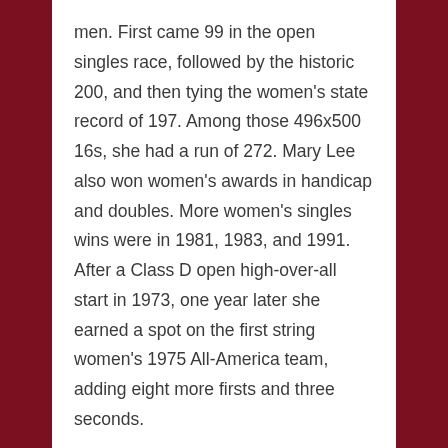men. First came 99 in the open singles race, followed by the historic 200, and then tying the women's state record of 197. Among those 496x500 16s, she had a run of 272. Mary Lee also won women's awards in handicap and doubles. More women's singles wins were in 1981, 1983, and 1991. After a Class D open high-over-all start in 1973, one year later she earned a spot on the first string women's 1975 All-America team, adding eight more firsts and three seconds.
Mary Lee's first of 12 Grand American